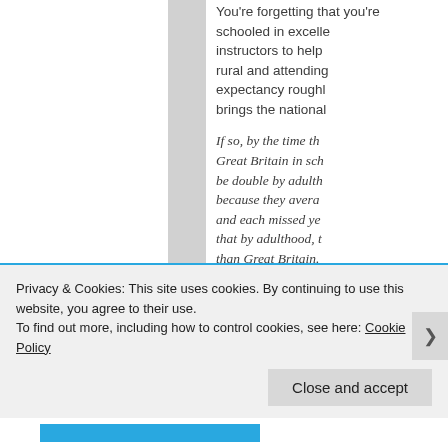You're forgetting that you're schooled in excellent schools, with instructors to help you. Kids living rural and attending schools, life expectancy roughly 60 years, which brings the national IQ down.
If so, by the time they leave school, Great Britain in schooling would only be double by adulthood. This is because they average 4 years school and each missed year costs 1.6 IQ, that by adulthood, they average less than Great Britain.
Great Britain IQ – 1...
Privacy & Cookies: This site uses cookies. By continuing to use this website, you agree to their use.
To find out more, including how to control cookies, see here: Cookie Policy
Close and accept